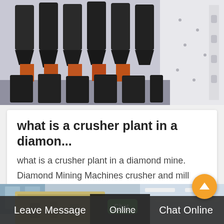[Figure (photo): Industrial crusher machine parts — rows of black metal jaw crusher plates stacked closely together, with orange/brown machinery elements visible, against a white industrial backdrop]
what is a crusher plant in a diamon...
what is a crusher plant in a diamond mine. Diamond Mining Machines crusher and mill Manufacturesupplier Zenith is a manufacturer of stone crushing plant with...
[Figure (photo): Industrial factory interior showing large yellow/beige heavy machinery (crusher plant equipment) inside a warehouse with windows and bright ceiling lights. A chat button overlay is visible.]
Leave Message   Chat Online